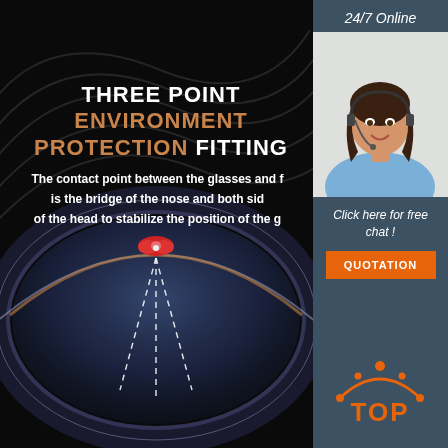[Figure (infographic): Product infographic with dark swirling background showing sports glasses with three-point nose bridge fitting diagram. Red nose pad visible at top of the glasses frame with dashed lines indicating the three contact points.]
THREE POINT ENVIRONMENTAL PROTECTION FITTING
The contact point between the glasses and the face is the bridge of the nose and both sides of the head to stabilize the position of the glasses.
[Figure (photo): Customer service representative - woman with headset smiling, wearing light blue shirt, with text '24/7 Online' above and 'Click here for free chat!' below]
24/7 Online
Click here for free chat !
QUOTATION
[Figure (logo): TOP logo in orange with arc/crown design above the letters]